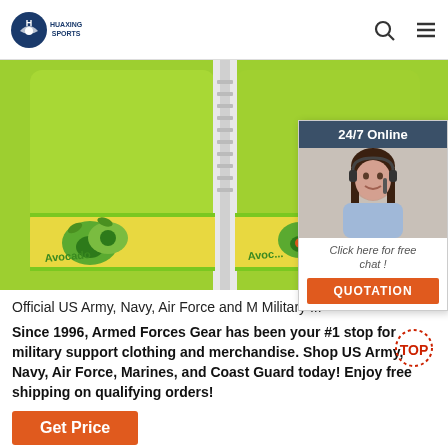HUAXING SPORTS
[Figure (photo): Green avocado-printed children's swim vest/flotation jacket with yellow avocado pattern band, zipper closure, lime green color]
[Figure (photo): 24/7 Online chat widget showing a woman with headset smiling, with 'Click here for free chat!' text and an orange QUOTATION button]
Official US Army, Navy, Air Force and M Military ...
Since 1996, Armed Forces Gear has been your #1 stop for military support clothing and merchandise. Shop US Army, Navy, Air Force, Marines, and Coast Guard today! Enjoy free shipping on qualifying orders!
[Figure (logo): Red and orange TOP circular badge/icon]
Get Price